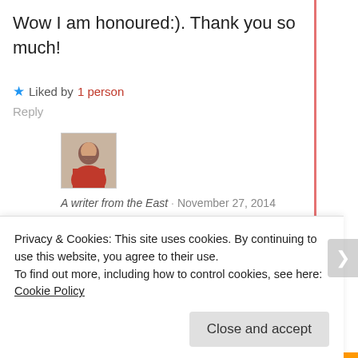Wow I am honoured:). Thank you so much!
★ Liked by 1 person
Reply
[Figure (photo): Avatar photo of a woman in red/orange clothing]
A writer from the East · November 27, 2014
And you deserve it! Am working on putting a post on the nomination
Privacy & Cookies: This site uses cookies. By continuing to use this website, you agree to their use.
To find out more, including how to control cookies, see here: Cookie Policy